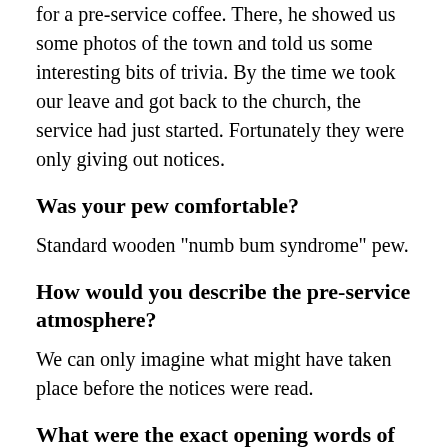for a pre-service coffee. There, he showed us some photos of the town and told us some interesting bits of trivia. By the time we took our leave and got back to the church, the service had just started. Fortunately they were only giving out notices.
Was your pew comfortable?
Standard wooden "numb bum syndrome" pew.
How would you describe the pre-service atmosphere?
We can only imagine what might have taken place before the notices were read.
What were the exact opening words of the service?